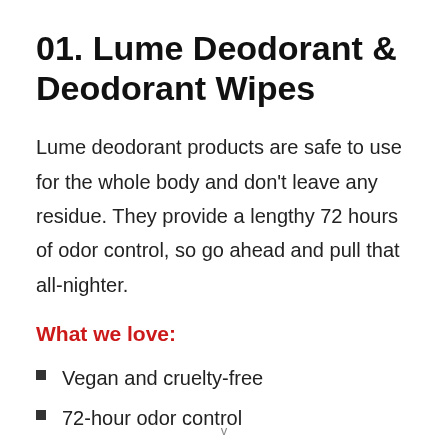01. Lume Deodorant & Deodorant Wipes
Lume deodorant products are safe to use for the whole body and don't leave any residue. They provide a lengthy 72 hours of odor control, so go ahead and pull that all-nighter.
What we love:
Vegan and cruelty-free
72-hour odor control